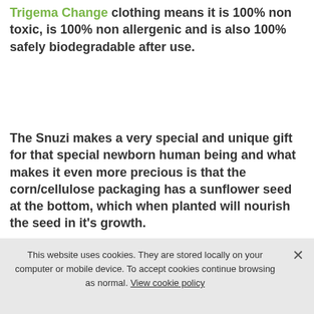Trigema Change clothing means it is 100% non toxic, is 100% non allergenic and is also 100% safely biodegradable after use.
The Snuzi makes a very special and unique gift for that special newborn human being and what makes it even more precious is that the corn/cellulose packaging has a sunflower seed at the bottom, which when planted will nourish the seed in it's growth.
This website uses cookies. They are stored locally on your computer or mobile device. To accept cookies continue browsing as normal. View cookie policy